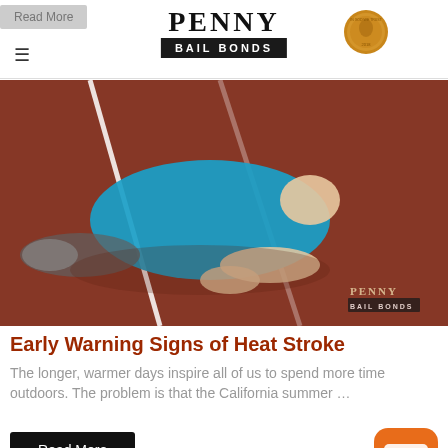PENNY BAIL BONDS
[Figure (photo): Person in blue shirt lying face-down on a red running track, appeared to have collapsed, with white lane lines visible. Penny Bail Bonds watermark in lower right corner.]
Early Warning Signs of Heat Stroke
The longer, warmer days inspire all of us to spend more time outdoors. The problem is that the California summer …
[Figure (screenshot): Read More button (black background, white text)]
[Figure (photo): Partial bottom image, appears to be an outdoor scene]